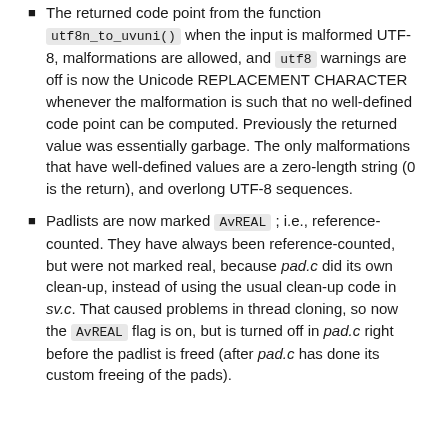The returned code point from the function utf8n_to_uvuni() when the input is malformed UTF-8, malformations are allowed, and utf8 warnings are off is now the Unicode REPLACEMENT CHARACTER whenever the malformation is such that no well-defined code point can be computed. Previously the returned value was essentially garbage. The only malformations that have well-defined values are a zero-length string (0 is the return), and overlong UTF-8 sequences.
Padlists are now marked AvREAL; i.e., reference-counted. They have always been reference-counted, but were not marked real, because pad.c did its own clean-up, instead of using the usual clean-up code in sv.c. That caused problems in thread cloning, so now the AvREAL flag is on, but is turned off in pad.c right before the padlist is freed (after pad.c has done its custom freeing of the pads).